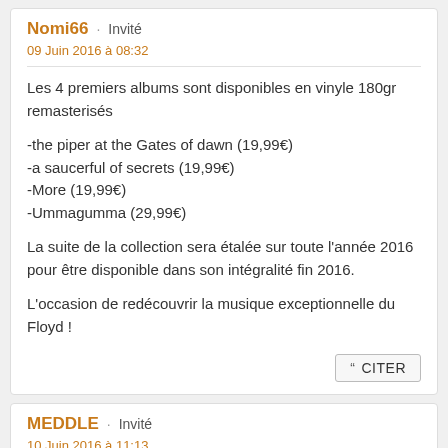Nomi66 · Invité
09 Juin 2016 à 08:32
Les 4 premiers albums sont disponibles en vinyle 180gr remasterisés

-the piper at the Gates of dawn (19,99€)
-a saucerful of secrets (19,99€)
-More (19,99€)
-Ummagumma (29,99€)

La suite de la collection sera étalée sur toute l'année 2016 pour être disponible dans son intégralité fin 2016.

L'occasion de redécouvrir la musique exceptionnelle du Floyd !
MEDDLE · Invité
10 Juin 2016 à 11:13